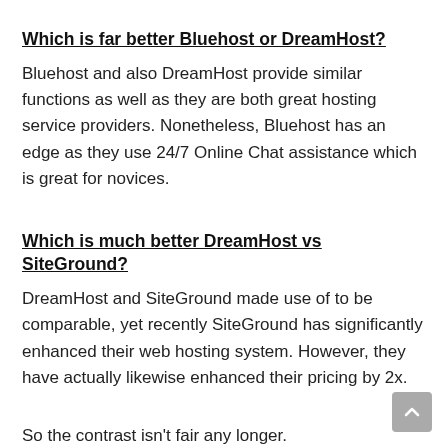Which is far better Bluehost or DreamHost?
Bluehost and also DreamHost provide similar functions as well as they are both great hosting service providers. Nonetheless, Bluehost has an edge as they use 24/7 Online Chat assistance which is great for novices.
Which is much better DreamHost vs SiteGround?
DreamHost and SiteGround made use of to be comparable, yet recently SiteGround has significantly enhanced their web hosting system. However, they have actually likewise enhanced their pricing by 2x.
So the contrast isn’t fair any longer.